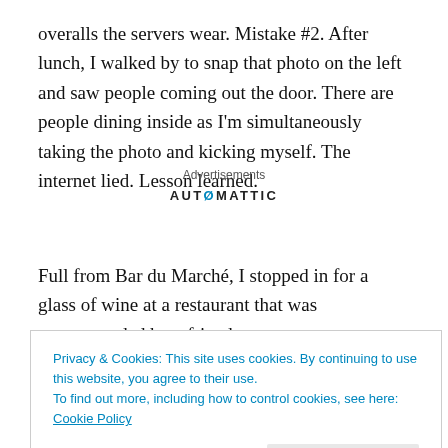overalls the servers wear. Mistake #2. After lunch, I walked by to snap that photo on the left and saw people coming out the door. There are people dining inside as I'm simultaneously taking the photo and kicking myself. The internet lied. Lesson learned.
Advertisements
AUTOMATTIC
Full from Bar du Marché, I stopped in for a glass of wine at a restaurant that was recommended by a friend on
Privacy & Cookies: This site uses cookies. By continuing to use this website, you agree to their use.
To find out more, including how to control cookies, see here: Cookie Policy
Close and accept